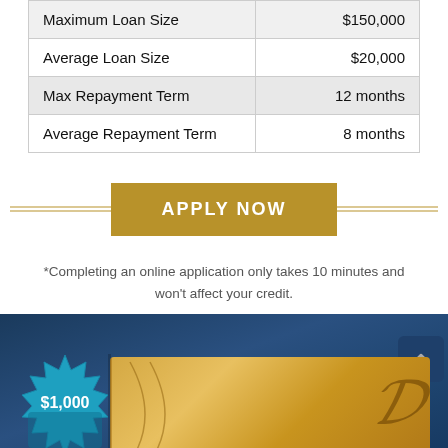| Maximum Loan Size | $150,000 |
| Average Loan Size | $20,000 |
| Max Repayment Term | 12 months |
| Average Repayment Term | 8 months |
APPLY NOW
*Completing an online application only takes 10 minutes and won't affect your credit.
[Figure (photo): Blue background section with a gift/reward image showing a blue starburst badge with $1,000 text and a gold gift card/ribbon]